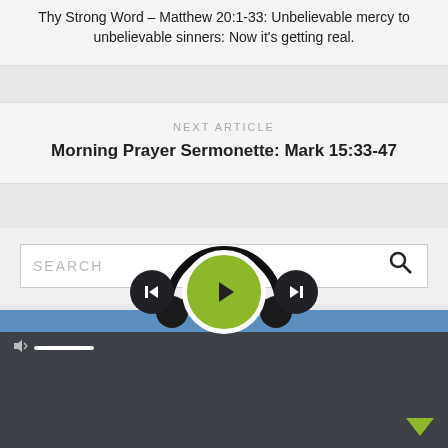Thy Strong Word – Matthew 20:1-33: Unbelievable mercy to unbelievable sinners: Now it's getting real.
NEXT ARTICLE
Morning Prayer Sermonette: Mark 15:33-47
SEARCH
LATEST POSTS
THY STRO...
[Figure (screenshot): Media player overlay with play, previous, next buttons, headphone graphic, volume bar, blue stripe, and dropdown arrow on dark background]